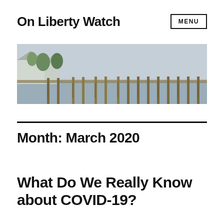On Liberty Watch
[Figure (photo): A coastal pier scene with wooden dock pilings extending into calm water, houses with trees visible on the left shore, overcast sky.]
Month: March 2020
What Do We Really Know about COVID-19?